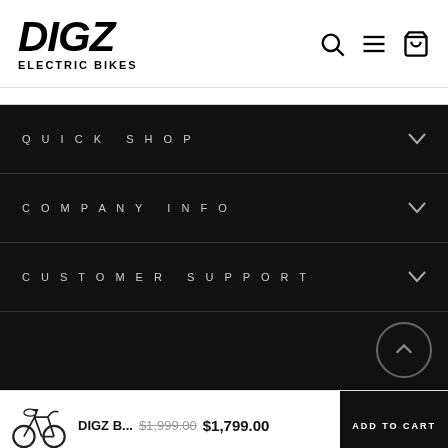DIGZ ELECTRIC BIKES
QUICK SHOP
COMPANY INFO
CUSTOMER SUPPORT
DIGZ B... $1,999.00 $1,799.00
ADD TO CART
1